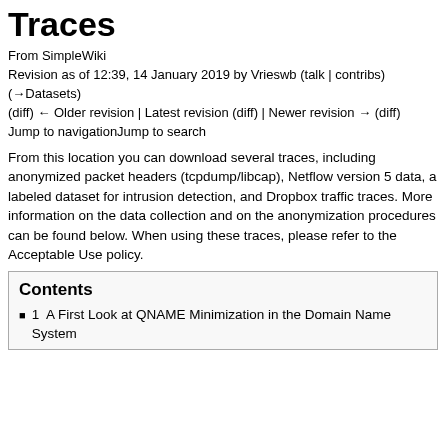Traces
From SimpleWiki
Revision as of 12:39, 14 January 2019 by Vrieswb (talk | contribs)
(→Datasets)
(diff) ← Older revision | Latest revision (diff) | Newer revision → (diff)
Jump to navigationJump to search
From this location you can download several traces, including anonymized packet headers (tcpdump/libcap), Netflow version 5 data, a labeled dataset for intrusion detection, and Dropbox traffic traces. More information on the data collection and on the anonymization procedures can be found below. When using these traces, please refer to the Acceptable Use policy.
Contents
1  A First Look at QNAME Minimization in the Domain Name System